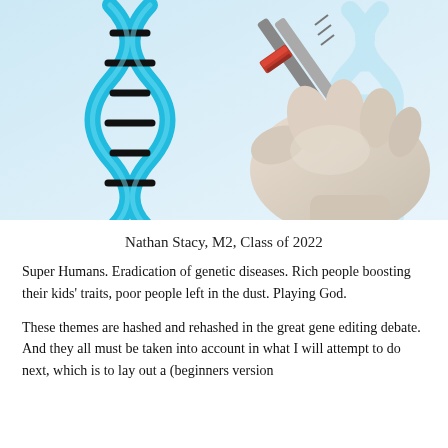[Figure (photo): A gloved hand holding tweezers inserting a red segment into a blue 3D DNA double helix model, on a light blue background.]
Nathan Stacy, M2, Class of 2022
Super Humans. Eradication of genetic diseases. Rich people boosting their kids' traits, poor people left in the dust. Playing God.
These themes are hashed and rehashed in the great gene editing debate. And they all must be taken into account in what I will attempt to do next, which is to lay out a (beginners version